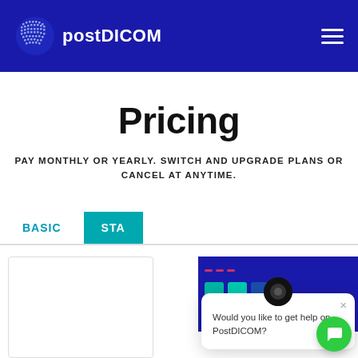[Figure (logo): postDICOM logo with globe icon and text on dark blue header bar]
Pricing
PAY MONTHLY OR YEARLY. SWITCH AND UPGRADE PLANS OR CANCEL AT ANYTIME.
BASIC | STANDARD tabs for pricing plans
[Figure (screenshot): Chat popup: 'Would you like to get help on PostDICOM?' with close button and avatar, and green chat button in bottom right]
[Figure (screenshot): Partial pricing cards shown at bottom: white card (left) and dark blue card with colored squares (right)]